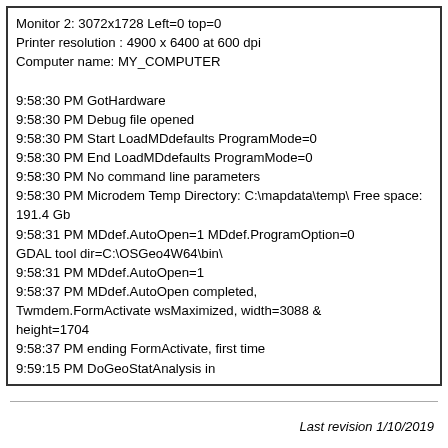Monitor 2: 3072x1728 Left=0 top=0
Printer resolution : 4900 x 6400 at 600 dpi
Computer name: MY_COMPUTER

9:58:30 PM GotHardware
9:58:30 PM Debug file opened
9:58:30 PM Start LoadMDdefaults ProgramMode=0
9:58:30 PM End LoadMDdefaults ProgramMode=0
9:58:30 PM No command line parameters
9:58:30 PM Microdem Temp Directory: C:\mapdata\temp\ Free space: 191.4 Gb
9:58:31 PM MDdef.AutoOpen=1 MDdef.ProgramOption=0
GDAL tool dir=C:\OSGeo4W64\bin\
9:58:31 PM MDdef.AutoOpen=1
9:58:37 PM MDdef.AutoOpen completed, Twmdem.FormActivate wsMaximized, width=3088 & height=1704
9:58:37 PM ending FormActivate, first time
9:59:15 PM DoGeoStatAnalysis in
Last revision 1/10/2019